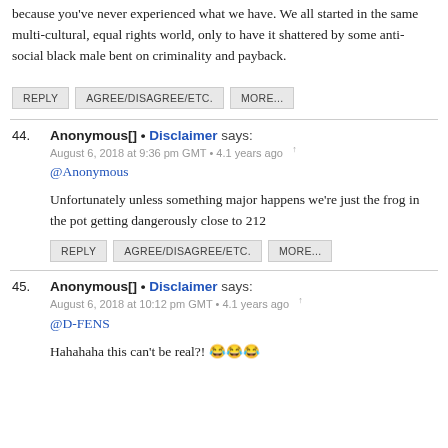because you've never experienced what we have. We all started in the same multi-cultural, equal rights world, only to have it shattered by some anti-social black male bent on criminality and payback.
REPLY   AGREE/DISAGREE/ETC.   MORE...
44. Anonymous[] • Disclaimer says:
August 6, 2018 at 9:36 pm GMT • 4.1 years ago  ↑
@Anonymous

Unfortunately unless something major happens we're just the frog in the pot getting dangerously close to 212
REPLY   AGREE/DISAGREE/ETC.   MORE...
45. Anonymous[] • Disclaimer says:
August 6, 2018 at 10:12 pm GMT • 4.1 years ago  ↑
@D-FENS

Hahahaha this can't be real?! 😂😂😂